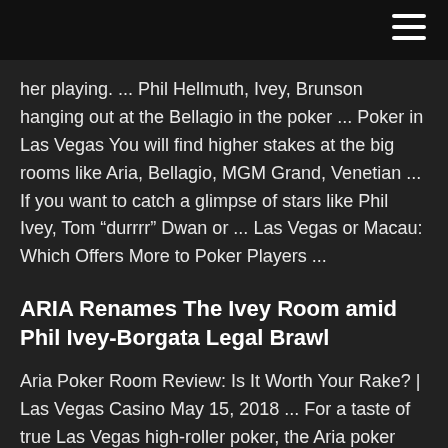her playing. ... Phil Hellmuth, Ivey, Brunson hanging out at the Bellagio in the poker ... Poker in Las Vegas You will find higher stakes at the big rooms like Aria, Bellagio, MGM Grand, Venetian ... If you want to catch a glimpse of stars like Phil Ivey, Tom “durrrr” Dwan or ... Las Vegas or Macau: Which Offers More to Poker Players ...
ARIA Renames The Ivey Room amid Phil Ivey-Borgata Legal Brawl
Aria Poker Room Review: Is It Worth Your Rake? | Las Vegas Casino May 15, 2018 ... For a taste of true Las Vegas high-roller poker, the Aria poker room is the ... an Aria cap, and Phil Ivey, who has a dedicated high stakes room ... Las Vegas Poker Room Reviews - | Daniel Negreanu North valet